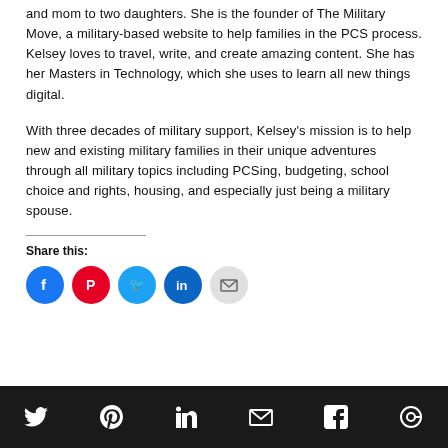and mom to two daughters. She is the founder of The Military Move, a military-based website to help families in the PCS process. Kelsey loves to travel, write, and create amazing content. She has her Masters in Technology, which she uses to learn all new things digital.
With three decades of military support, Kelsey's mission is to help new and existing military families in their unique adventures through all military topics including PCSing, budgeting, school choice and rights, housing, and especially just being a military spouse.
Share this:
[Figure (infographic): Row of 5 social media share icons: Facebook (blue circle), Pinterest (red circle), Twitter (blue circle), LinkedIn (blue circle), Email (grey circle)]
[Figure (infographic): Dark footer bar with 6 white social media icons: Twitter, Pinterest, LinkedIn, Email, Facebook, and another icon]